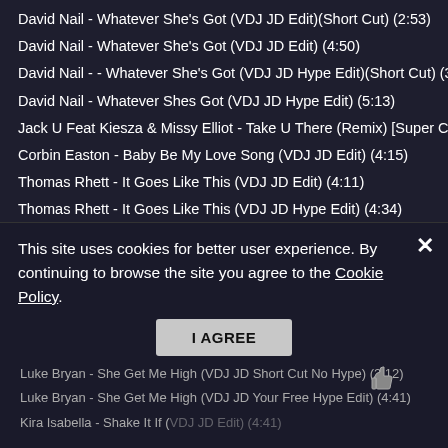David Nail - Whatever She's Got (VDJ JD Edit)(Short Cut) (2:53)
David Nail - Whatever She's Got (VDJ JD Edit) (4:50)
David Nail - - Whatever She's Got (VDJ JD Hype Edit)(Short Cut) (3:17
David Nail - Whatever Shes Got (VDJ JD Hype Edit) (5:13)
Jack U Feat Kiesza & Missy Elliot - Take U There (Remix) [Super Clear
Corbin Easton - Baby Be My Love Song (VDJ JD Edit) (4:15)
Thomas Rhett - It Goes Like This (VDJ JD Edit) (4:11)
Thomas Rhett - It Goes Like This (VDJ JD Hype Edit) (4:34)
Def Loaf - We Be On It [Clean] (3:24)
Jason Blaine - Country Side (VDJ JD Edit) (4:05)
Jason Blaine - Country Side (VDJ JD Hype Edit) (4:38)
Luke Bryan - She Get Me High (VDJ JD Edit) (4:19)
Luke Bryan - She Get Me High (VDJ JD Short Cut Hype) (2:34)
Luke Bryan - She Get Me High (VDJ JD Short Cut No Hype) (2:12)
Luke Bryan - She Get Me High (VDJ JD Your Free Hype Edit) (4:41)
Luke Bryan - She Get Me High (VDJ JD Edit) (4:19)
Luke Bryan - She Get Me High (VDJ JD Short Cut Hype) (2:34)
Luke Bryan - She Get Me High (VDJ JD Short Cut No Hype) (2:12)
Luke Bryan - She Get Me High (VDJ JD Your Free Hype Edit) (4:41)
Kira Isabella - Shake It If (VDJ JD Edit) (4:41)
This site uses cookies for better user experience. By continuing to browse the site you agree to the Cookie Policy.
I AGREE